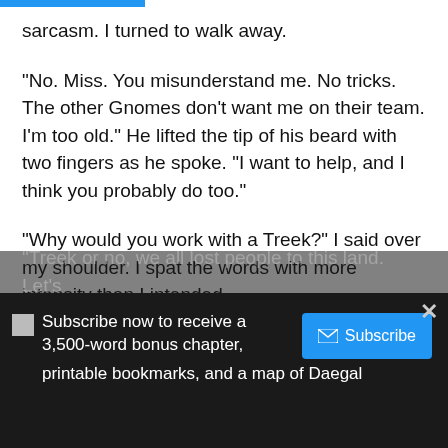sarcasm. I turned to walk away.
"No. Miss. You misunderstand me. No tricks. The other Gnomes don't want me on their team. I'm too old." He lifted the tip of his beard with two fingers as he spoke. "I want to help, and I think you probably do too."
"Why would you work with a Treek?" I said over my shoulder. I spat the words with more intensity than I intended.
Zef gulped and took a moment before responding.
"Treek or no, we all lost people to this land. Let's
Subscribe now to receive a 3,500-word bonus chapter, printable bookmarks, and a map of Daegal
Subscribe